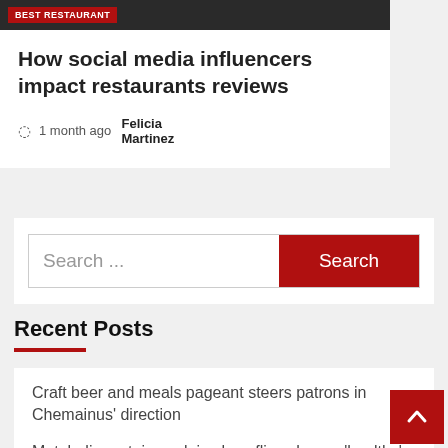[Figure (photo): Dark background image of a person with a red badge/label overlay reading 'BEST RESTAURANT']
How social media influencers impact restaurants reviews
1 month ago  Felicia Martinez
Search ...
Search
Recent Posts
Craft beer and meals pageant steers patrons in Chemainus' direction
Metabolic protein explains how flies choose 'healthy' food